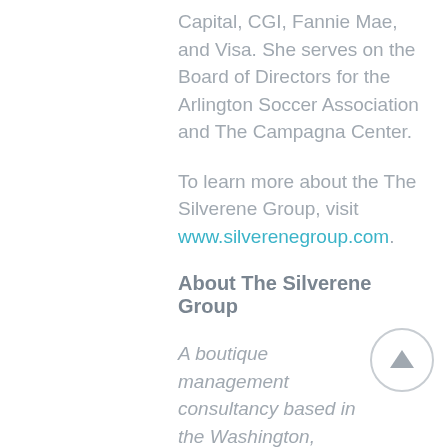Capital, CGI, Fannie Mae, and Visa. She serves on the Board of Directors for the Arlington Soccer Association and The Campagna Center.
To learn more about the The Silverene Group, visit www.silverenegroup.com.
About The Silverene Group
A boutique management consultancy based in the Washington, D.C. metropolitan area, The Silverene Group helps organizations align people programs with business goals. The Silverene Group advises CEOs, CHROs, and other business leaders on how to